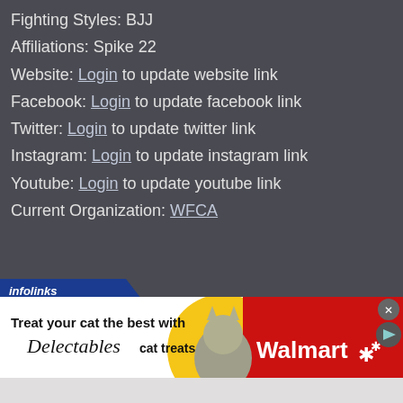Fighting Styles: BJJ
Affiliations: Spike 22
Website: Login to update website link
Facebook: Login to update facebook link
Twitter: Login to update twitter link
Instagram: Login to update instagram link
Youtube: Login to update youtube link
Current Organization: WFCA
[Figure (photo): Walmart advertisement for Delectables cat treats featuring a cat and Walmart logo]